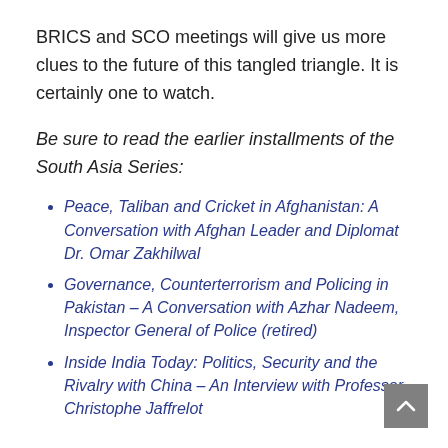BRICS and SCO meetings will give us more clues to the future of this tangled triangle. It is certainly one to watch.
Be sure to read the earlier installments of the South Asia Series:
Peace, Taliban and Cricket in Afghanistan: A Conversation with Afghan Leader and Diplomat Dr. Omar Zakhilwal
Governance, Counterterrorism and Policing in Pakistan – A Conversation with Azhar Nadeem, Inspector General of Police (retired)
Inside India Today: Politics, Security and the Rivalry with China – An Interview with Professor Christophe Jaffrelot